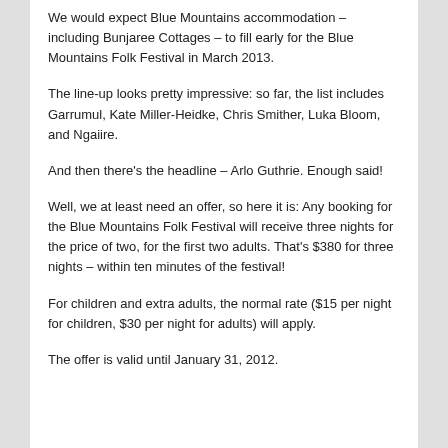We would expect Blue Mountains accommodation – including Bunjaree Cottages – to fill early for the Blue Mountains Folk Festival in March 2013.
The line-up looks pretty impressive: so far, the list includes Garrumul, Kate Miller-Heidke, Chris Smither, Luka Bloom, and Ngaiire.
And then there's the headline – Arlo Guthrie. Enough said!
Well, we at least need an offer, so here it is: Any booking for the Blue Mountains Folk Festival will receive three nights for the price of two, for the first two adults. That's $380 for three nights – within ten minutes of the festival!
For children and extra adults, the normal rate ($15 per night for children, $30 per night for adults) will apply.
The offer is valid until January 31, 2012.